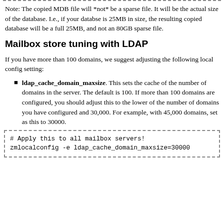Note: The copied MDB file will *not* be a sparse file. It will be the actual size of the database. I.e., if your databse is 25MB in size, the resulting copied database will be a full 25MB, and not an 80GB sparse file.
Mailbox store tuning with LDAP
If you have more than 100 domains, we suggest adjusting the following local config setting:
ldap_cache_domain_maxsize. This sets the cache of the number of domains in the server. The default is 100. If more than 100 domains are configured, you should adjust this to the lower of the number of domains you have configured and 30,000. For example, with 45,000 domains, set as this to 30000.
# Apply this to all mailbox servers!
zmlocalconfig -e ldap_cache_domain_maxsize=30000